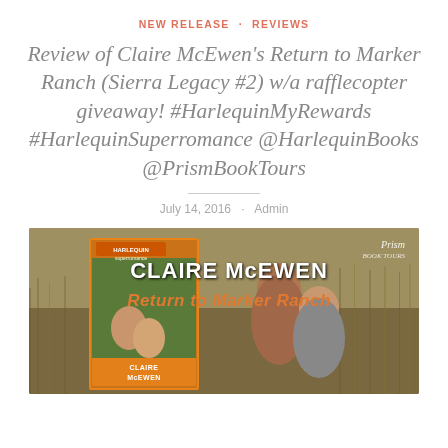NEW RELEASE · REVIEWS
Review of Claire McEwen's Return to Marker Ranch (Sierra Legacy #2) w/a rafflecopter giveaway! #HarlequinMyRewards #HarlequinSuperromance @HarlequinBooks @PrismBookTours
July 14, 2016 · Admin
[Figure (photo): Promotional banner for Claire McEwen's 'Return to Marker Ranch' book, showing the book cover on the left and a couple smiling outdoors in a field on the right, with the author name 'CLAIRE McEWEN' in white and the book title 'Return to Marker Ranch' in orange, and a Prism Book Tours logo in the top right corner.]